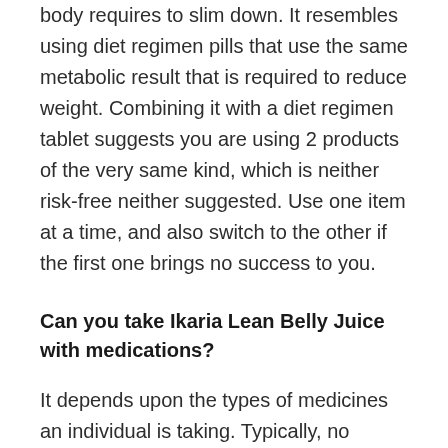body requires to slim down. It resembles using diet regimen pills that use the same metabolic result that is required to reduce weight. Combining it with a diet regimen tablet suggests you are using 2 products of the very same kind, which is neither risk-free neither suggested. Use one item at a time, and also switch to the other if the first one brings no success to you.
Can you take Ikaria Lean Belly Juice with medications?
It depends upon the types of medicines an individual is taking. Typically, no supplement is encouraged to be taken with medications, specifically prescription medicines, but for